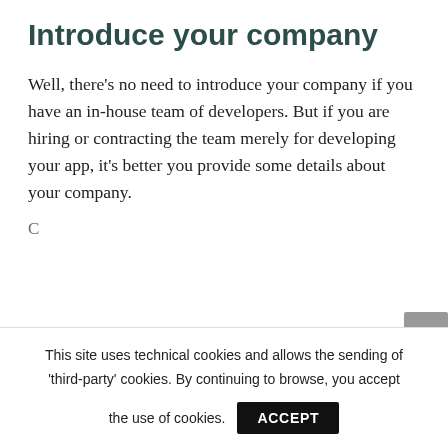Introduce your company
Well, there’s no need to introduce your company if you have an in-house team of developers. But if you are hiring or contracting the team merely for developing your app, it’s better you provide some details about your company.
This site uses technical cookies and allows the sending of ‘third-party’ cookies. By continuing to browse, you accept the use of cookies.